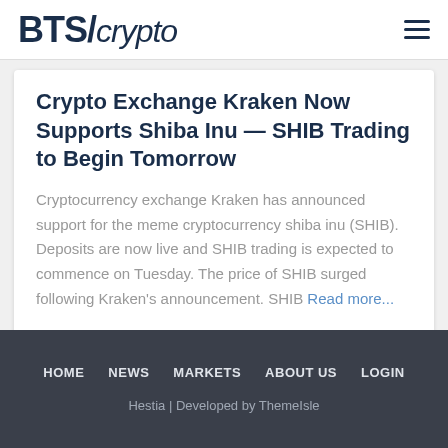BTS/crypto
Crypto Exchange Kraken Now Supports Shiba Inu — SHIB Trading to Begin Tomorrow
Cryptocurrency exchange Kraken has announced support for the meme cryptocurrency shiba inu (SHIB). Deposits are now live and SHIB trading is expected to commence on Tuesday. The price of SHIB surged following Kraken's announcement. SHIB Read more...
HOME NEWS MARKETS ABOUT US LOGIN
Hestia | Developed by ThemeIsle